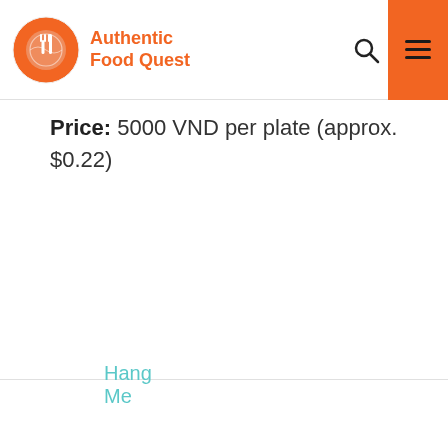Authentic Food Quest
Price: 5000 VND per plate (approx. $0.22)
Hang Me